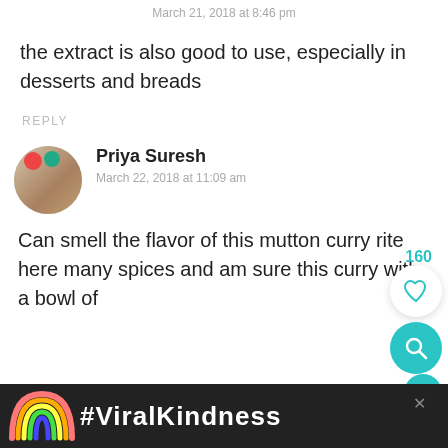March 21, 2018 at 8:46 pm
the extract is also good to use, especially in desserts and breads
REPLY
160
Priya Suresh
March 22, 2018 at 11:09 am
Can smell the flavor of this mutton curry rite here many spices and am sure this curry with a bowl of
[Figure (other): Advertisement banner with rainbow illustration and #ViralKindness hashtag text on dark background]